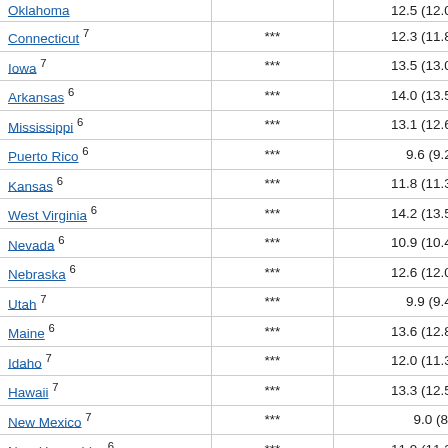| State |  | Value (CI) |
| --- | --- | --- |
| Oklahoma |  | 12.5 (12.0, 13.0) |
| Connecticut 7 | *** | 12.3 (11.8, 12.7) |
| Iowa 7 | *** | 13.5 (13.0, 14.1) |
| Arkansas 6 | *** | 14.0 (13.5, 14.6) |
| Mississippi 6 | *** | 13.1 (12.6, 13.6) |
| Puerto Rico 6 | *** | 9.6 (9.2, 10.0) |
| Kansas 6 | *** | 11.8 (11.3, 12.4) |
| West Virginia 6 | *** | 14.2 (13.5, 14.9) |
| Nevada 6 | *** | 10.9 (10.4, 11.5) |
| Nebraska 6 | *** | 12.6 (12.0, 13.3) |
| Utah 7 | *** | 9.9 (9.4, 10.5) |
| Maine 6 | *** | 13.6 (12.8, 14.3) |
| Idaho 7 | *** | 12.0 (11.3, 12.7) |
| Hawaii 7 | *** | 13.3 (12.5, 14.1) |
| New Mexico 7 | *** | 9.0 (8.4, 9.5) |
| New Hampshire 6 | *** | 11.9 (11.2, 12.7) |
| Montana 6 | *** | 12.1 (11.3, 13.0) |